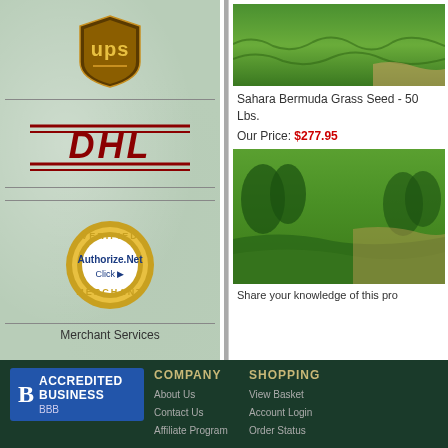[Figure (logo): UPS shipping logo - brown shield shape with UPS text]
[Figure (logo): DHL shipping logo - red italic bold text with horizontal lines]
[Figure (logo): Authorize.Net Verified Merchant badge - gold circular seal with Click text]
Merchant Services
[Figure (logo): Bizrate Customer Certified badge dated 08/24/22]
[Figure (photo): Bermuda grass lawn - green grass field photo]
Sahara Bermuda Grass Seed - 50 Lbs.
Our Price: $277.95
[Figure (photo): Bermuda grass lawn - green grass with trees in background]
Share your knowledge of this pro
[Figure (logo): BBB Accredited Business badge - blue badge with BBB logo]
COMPANY
About Us
Contact Us
Affiliate Program
SHOPPING
View Basket
Account Login
Order Status